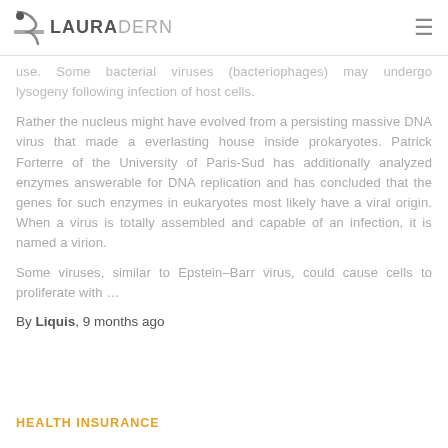LAURADERN
use. Some bacterial viruses (bacteriophages) may undergo lysogeny following infection of host cells.
Rather the nucleus might have evolved from a persisting massive DNA virus that made a everlasting house inside prokaryotes. Patrick Forterre of the University of Paris-Sud has additionally analyzed enzymes answerable for DNA replication and has concluded that the genes for such enzymes in eukaryotes most likely have a viral origin. When a virus is totally assembled and capable of an infection, it is named a virion.
Some viruses, similar to Epstein–Barr virus, could cause cells to proliferate with …
By Liquis, 9 months ago
HEALTH INSURANCE